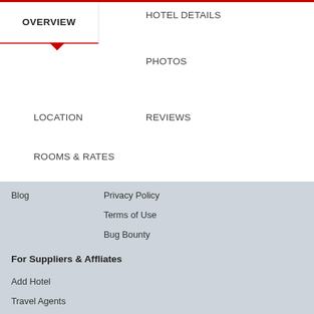OVERVIEW
HOTEL DETAILS
PHOTOS
LOCATION
REVIEWS
ROOMS & RATES
Blog
Privacy Policy
Terms of Use
Bug Bounty
For Suppliers & Affliates
Add Hotel
Travel Agents
Corporates
[Figure (logo): PCI Compliant ControlCase badge]